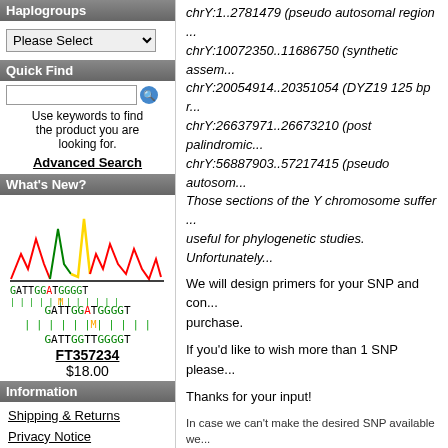Haplogroups
Please Select
Quick Find
Use keywords to find the product you are looking for.
Advanced Search
What's New?
[Figure (illustration): DNA sequence chromatogram showing GATTGGATGGGGT over GATTGGTTGGGGT with colored peaks]
FT357234
$18.00
Information
Shipping & Returns
Privacy Notice
Conditions of Use
F.A.Q.
Contact Us
chrY:1..2781479 (pseudo autosomal region 1)
chrY:10072350..11686750 (synthetic assem...)
chrY:20054914..20351054 (DYZ19 125 bp r...)
chrY:26637971..26673210 (post palindromic...)
chrY:56887903..57217415 (pseudo autosom...)
Those sections of the Y chromosome suffer...
useful for phylogenetic studies. Unfortunately...
We will design primers for your SNP and com... purchase.
If you'd like to wish more than 1 SNP please...
Thanks for your input!
In case we can't make the desired SNP available we...
Available Options:
Haplogroup:
A0
Reference Sequence: